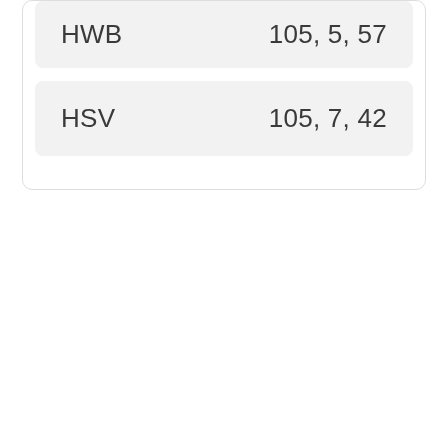| Color Model | Values |
| --- | --- |
| HWB | 105, 5, 57 |
| HSV | 105, 7, 42 |